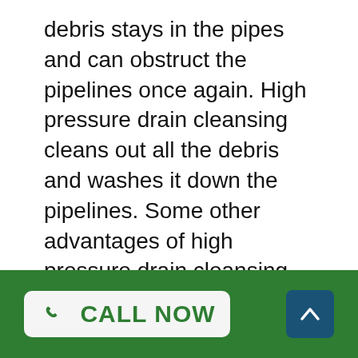debris stays in the pipes and can obstruct the pipelines once again. High pressure drain cleansing cleans out all the debris and washes it down the pipelines. Some other advantages of high pressure drain cleansing consist of:.
It eliminates germs, which can be a source of foul smells.
High pressure drain cleaning can work even in corroded pipes, which a snake might harm.
Most plumbing professionals are switching to high pressure drain cleaning because of the benefits of the system. They use different sized nozzles for different jobs and can increase the pressure for tough jobs, like tree root removal. Today, they use high pressure drain cleaning even for small tasks like clogged up drains in
CALL NOW